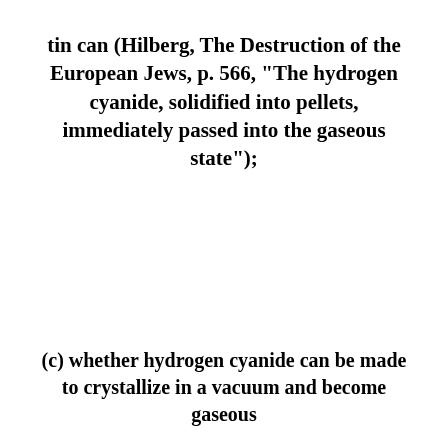tin can (Hilberg, The Destruction of the European Jews, p. 566, "The hydrogen cyanide, solidified into pellets, immediately passed into the gaseous state");
(c) whether hydrogen cyanide can be made to crystallize in a vacuum and become gaseous